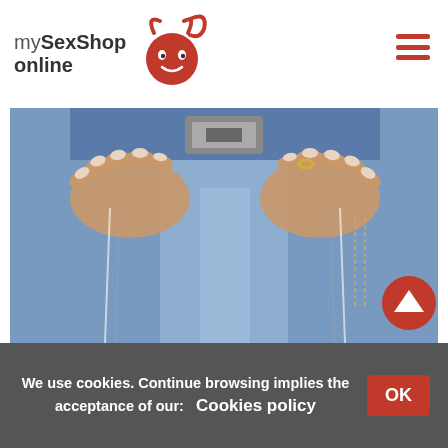[Figure (logo): mySexShop online logo with red devil icon]
[Figure (photo): Close-up photo of hands holding jeans waistband with belt buckle]
We use cookies. Continue browsing implies the acceptance of our:  Cookies policy
OK